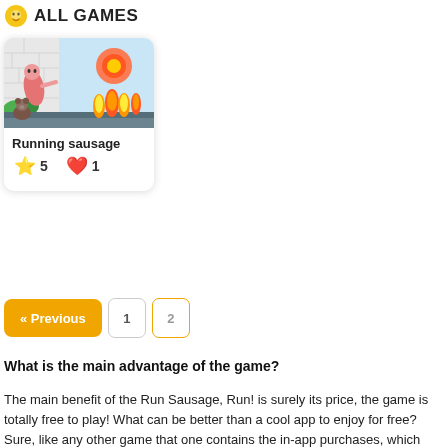ALL GAMES
[Figure (illustration): Game card for 'Running sausage' with a cartoon thumbnail showing a sausage character, a bear, fire, and a sun on a blue background. Shows star rating 5 and heart count 1.]
Running sausage
★ 5   ♥ 1
« Previous
1
2
What is the main advantage of the game?
The main benefit of the Run Sausage, Run! is surely its price, the game is totally free to play! What can be better than a cool app to enjoy for free? Sure, like any other game that one contains the in-app purchases, which